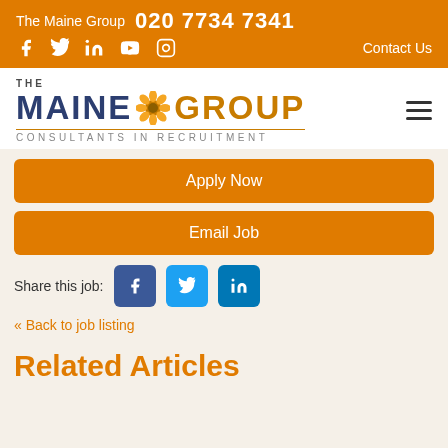The Maine Group  020 7734 7341
Social icons: Facebook, Twitter, LinkedIn, YouTube, Instagram | Contact Us
[Figure (logo): The Maine Group logo with sunflower — CONSULTANTS IN RECRUITMENT]
Apply Now
Email Job
Share this job: [Facebook] [Twitter] [LinkedIn]
« Back to job listing
Related Articles